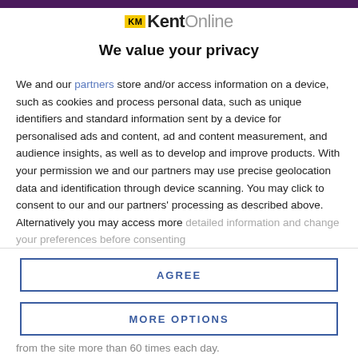[Figure (logo): KM KentOnline logo with yellow KM box and grey/black Kent Online text]
We value your privacy
We and our partners store and/or access information on a device, such as cookies and process personal data, such as unique identifiers and standard information sent by a device for personalised ads and content, ad and content measurement, and audience insights, as well as to develop and improve products. With your permission we and our partners may use precise geolocation data and identification through device scanning. You may click to consent to our and our partners' processing as described above. Alternatively you may access more detailed information and change your preferences before consenting
AGREE
MORE OPTIONS
from the site more than 60 times each day.